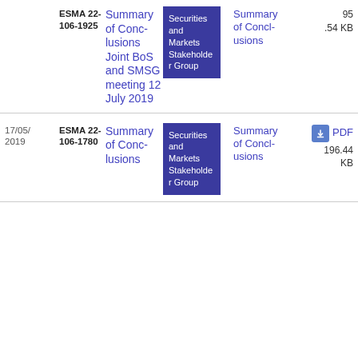| Date | Reference | Title | Group | Type | Size |
| --- | --- | --- | --- | --- | --- |
|  | ESMA 22-106-1925 | Summary of Conclusions Joint BoS and SMSG meeting 12 July 2019 | Securities and Markets Stakeholder Group | Summary of Conclusions | 95.54 KB |
| 17/05/2019 | ESMA 22-106-1780 | Summary of Conclusions | Securities and Markets Stakeholder Group | Summary of Conclusions | 196.44 KB |